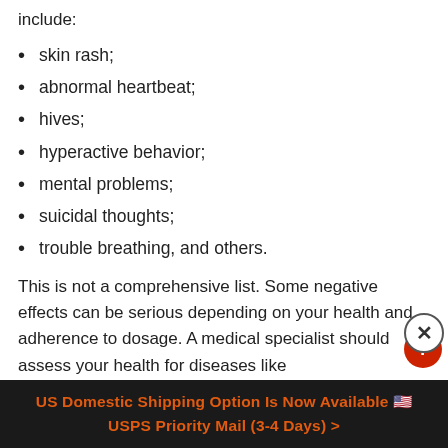include:
skin rash;
abnormal heartbeat;
hives;
hyperactive behavior;
mental problems;
suicidal thoughts;
trouble breathing, and others.
This is not a comprehensive list. Some negative effects can be serious depending on your health and adherence to dosage. A medical specialist should assess your health for diseases like
US Domestic Shipping Option Is Now Available 🇺🇸 USPS Priority Mail (3-4 Days) >